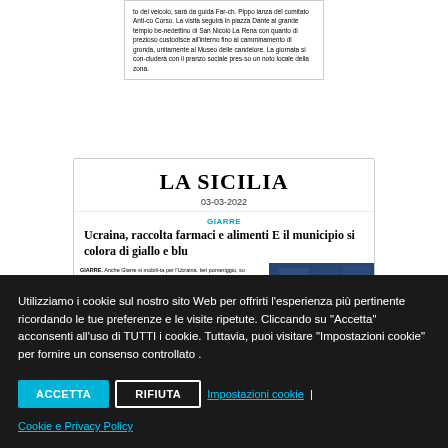[Figure (screenshot): Partial newspaper article snippet showing Italian text about a visit to a church and social lunch]
[Figure (screenshot): La Sicilia newspaper dated 03-03-2022 showing article about Ukraine aid collection in Giarre with headline 'Ucraina, raccolta farmaci e alimenti E il municipio si colora di giallo e blu' and photo of building facade]
Utilizziamo i cookie sul nostro sito Web per offrirti l'esperienza più pertinente ricordando le tue preferenze e le visite ripetute. Cliccando su "Accetta" acconsenti all'uso di TUTTI i cookie. Tuttavia, puoi visitare "Impostazioni cookie" per fornire un consenso controllato .
ACCETTA | RIFIUTA | Impostazioni cookie | Cookie e Privacy Policy